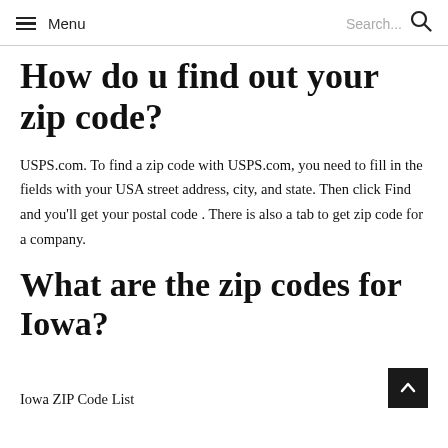Menu  Search...
How do u find out your zip code?
USPS.com. To find a zip code with USPS.com, you need to fill in the fields with your USA street address, city, and state. Then click Find and you'll get your postal code . There is also a tab to get zip code for a company.
What are the zip codes for Iowa?
Iowa ZIP Code List